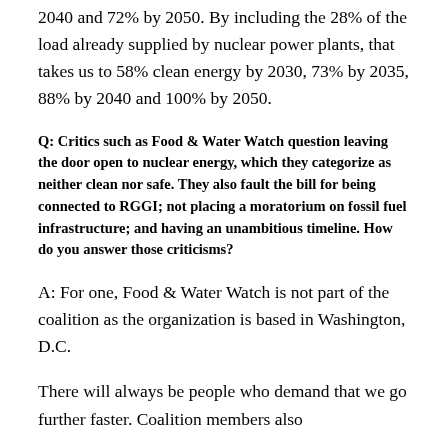2040 and 72% by 2050. By including the 28% of the load already supplied by nuclear power plants, that takes us to 58% clean energy by 2030, 73% by 2035, 88% by 2040 and 100% by 2050.
Q: Critics such as Food & Water Watch question leaving the door open to nuclear energy, which they categorize as neither clean nor safe. They also fault the bill for being connected to RGGI; not placing a moratorium on fossil fuel infrastructure; and having an unambitious timeline. How do you answer those criticisms?
A: For one, Food & Water Watch is not part of the coalition as the organization is based in Washington, D.C.
There will always be people who demand that we go further faster. Coalition members also